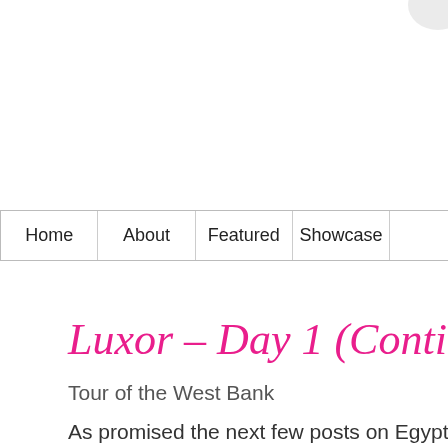[Figure (logo): Partial logo or image in upper right corner]
| Home | About | Featured | Showcase |  |
| --- | --- | --- | --- | --- |
Luxor – Day 1 (Continuation...)
Tour of the West Bank
As promised the next few posts on Egypt will be shorter (
After the Valley of the Kings, our guide took us to the Te